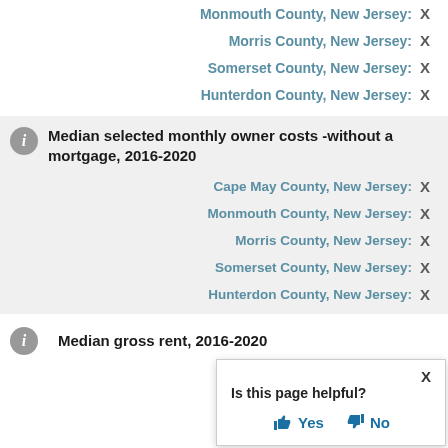Monmouth County, New Jersey: X
Morris County, New Jersey: X
Somerset County, New Jersey: X
Hunterdon County, New Jersey: X
Median selected monthly owner costs -without a mortgage, 2016-2020
Cape May County, New Jersey: X
Monmouth County, New Jersey: X
Morris County, New Jersey: X
Somerset County, New Jersey: X
Hunterdon County, New Jersey: X
Median gross rent, 2016-2020
Cape May County, New Jersey: X
Monmouth County, New Jersey: X
Is this page helpful? Yes No